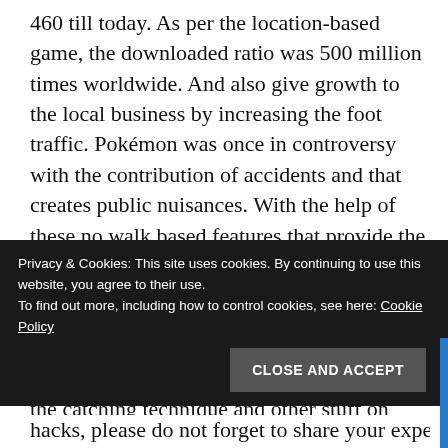460 till today. As per the location-based game, the downloaded ratio was 500 million times worldwide. And also give growth to the local business by increasing the foot traffic. Pokémon was once in controversy with the contribution of accidents and that creates public nuisances. With the help of these no walk based features that provide the Pokémon user to run game while sitting with Pokémon go hack works perfectly and now this game has maintained its ranking.
We hope that this article will help you with the catching technique and other stuff on Pokémon game, any information, tips or another source related to this article can be asked in the comment section. Well, there are much more Pokemon Go trick and tips available online, it's depends on you that which tips you
Privacy & Cookies: This site uses cookies. By continuing to use this website, you agree to their use.
To find out more, including how to control cookies, see here: Cookie Policy
CLOSE AND ACCEPT
hacks, please do not forget to share your experience with us in